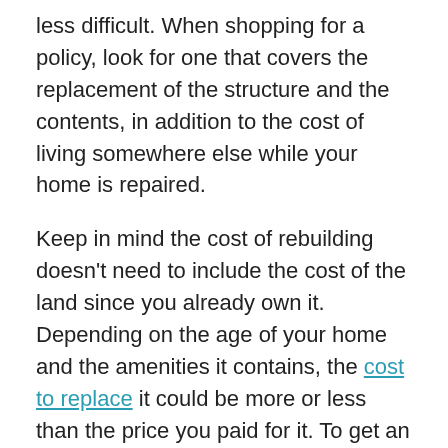less difficult. When shopping for a policy, look for one that covers the replacement of the structure and the contents, in addition to the cost of living somewhere else while your home is repaired.
Keep in mind the cost of rebuilding doesn't need to include the cost of the land since you already own it. Depending on the age of your home and the amenities it contains, the cost to replace it could be more or less than the price you paid for it. To get an accurate estimate, find out how much local builders charge per square foot and multiply that number by the amount of space you will need to replace. Don't forget to factor in the cost of upgrades and special features. Also, be sure the policy covers the cost of any liability for injuries that might occur on your property.